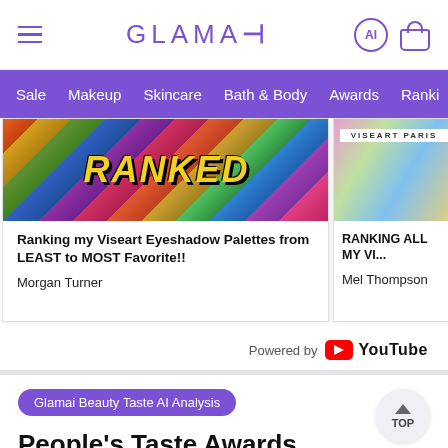GLAMAI
Sale  Makeup  Skincare  Bath & Body  Awards  Ranki...
[Figure (screenshot): Card showing eyeshadow palette thumbnail with 'RANKED' text overlay. Title: 'Ranking my Viseart Eyeshadow Palettes from LEAST to MOST Favorite!!' by Morgan Turner]
[Figure (screenshot): Partial card showing Viseart Paris palette thumbnail. Title: 'RANKING ALL MY VI...' by Mel Thompson]
Powered by YouTube
Glamai Beauty Taste AI Analysis
People's Taste Awards
An award given by the crowd, based on what people actually say about this product.